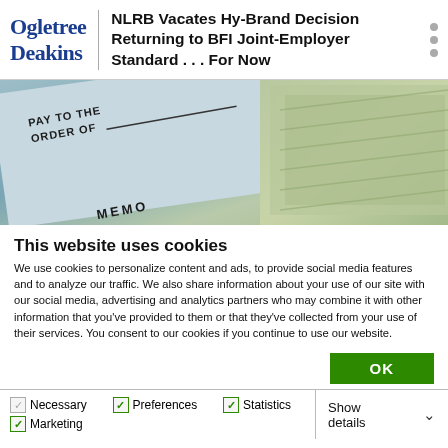Ogletree Deakins — NLRB Vacates Hy-Brand Decision Returning to BFI Joint-Employer Standard . . . For Now
[Figure (photo): Close-up photo of a check (PAY TO THE ORDER OF) with US dollar bills in the background]
This website uses cookies
We use cookies to personalize content and ads, to provide social media features and to analyze our traffic. We also share information about your use of our site with our social media, advertising and analytics partners who may combine it with other information that you've provided to them or that they've collected from your use of their services. You consent to our cookies if you continue to use our website.
OK
Necessary  Preferences  Statistics  Marketing  Show details